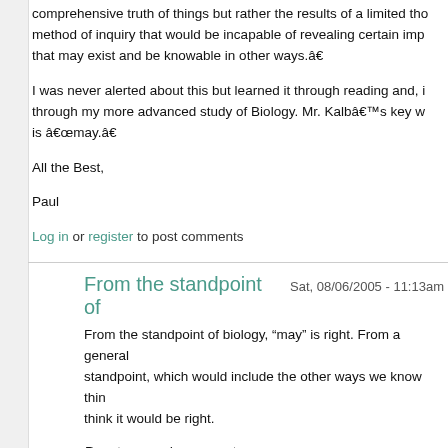comprehensive truth of things but rather the results of a limited thought method of inquiry that would be incapable of revealing certain imp that may exist and be knowable in other ways.â€
I was never alerted about this but learned it through reading and, through my more advanced study of Biology. Mr. Kalbâ€™s key w is â€œmay.â€
All the Best,
Paul
Log in or register to post comments
From the standpoint of
Sat, 08/06/2005 - 11:13am
From the standpoint of biology, “may” is right. From a general standpoint, which would include the other ways we know thin think it would be right.
Rem tene, verba sequentur.
—